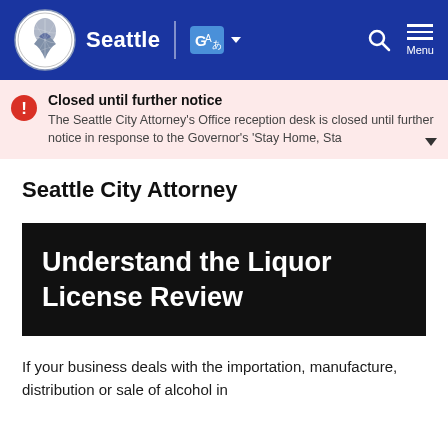Seattle | [Google Translate] | Search | Menu
Closed until further notice
The Seattle City Attorney's Office reception desk is closed until further notice in response to the Governor's 'Stay Home, Stay...
Seattle City Attorney
Understand the Liquor License Review
If your business deals with the importation, manufacture, distribution or sale of alcohol in